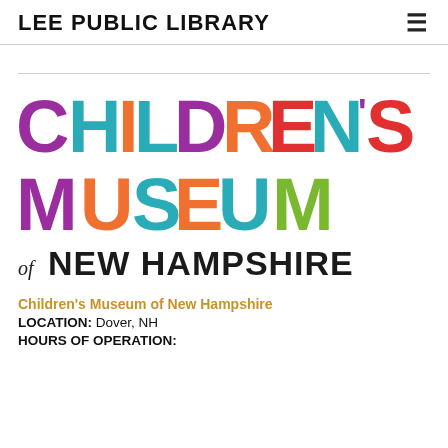LEE PUBLIC LIBRARY
[Figure (logo): Children's Museum of New Hampshire colorful logo with large stylized letters in purple, teal, orange, green, red, and multi-colored segments reading CHILDREN'S MUSEUM of NEW HAMPSHIRE]
Children's Museum of New Hampshire
LOCATION: Dover, NH
HOURS OF OPERATION: